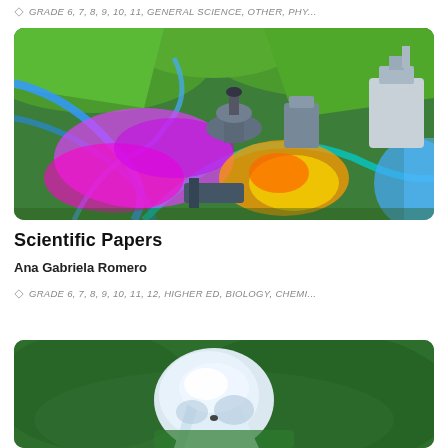GRADE 6, 7, 8, 9, 10, 11, GENERAL SCIENCE, OTHER, PHY...
[Figure (photo): Aerial 3D illustrated map showing a landscape with green terrain, rivers, industrial buildings with a dome, colorful thermal/heat map overlay in pink, magenta, orange, yellow, and blue water at right edge.]
Scientific Papers
Ana Gabriela Romero
GRADE 6, 7, 8, 9, 10, 11, 12, HIGHER ED, BIOLOGY, CHEMI...
[Figure (photo): Photo of a white rocky formation or iceberg partially submerged in green water or green vegetation background.]